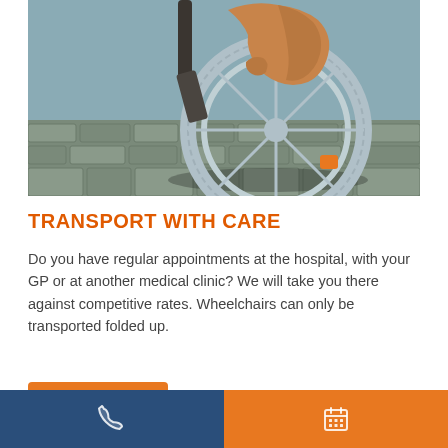[Figure (photo): Close-up photo of a person's hand gripping a wheelchair wheel, with a brick/cobblestone path visible in the background. The wheel spokes and grey rubber tyre are visible, with an orange reflector at the bottom.]
TRANSPORT WITH CARE
Do you have regular appointments at the hospital, with your GP or at another medical clinic? We will take you there against competitive rates. Wheelchairs can only be transported folded up.